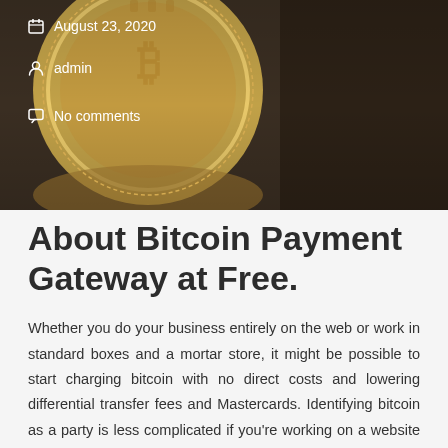[Figure (photo): Hero image showing close-up of gold Bitcoin coins on a dark surface with metadata overlays showing date, author, and comments]
August 23, 2020
admin
No comments
About Bitcoin Payment Gateway at Free.
Whether you do your business entirely on the web or work in standard boxes and a mortar store, it might be possible to start charging bitcoin with no direct costs and lowering differential transfer fees and Mastercards. Identifying bitcoin as a party is less complicated if you're working on a website or online